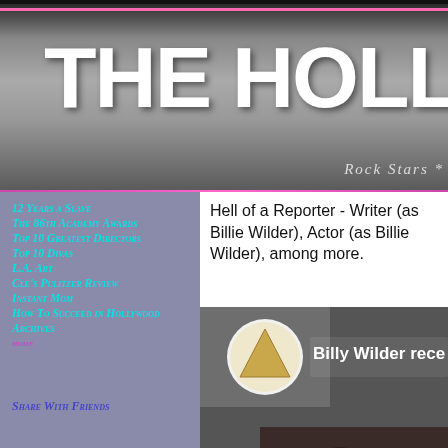THE HOLLY — Rock Stars *
12 Years a Slave
The 86th Academy Awards
Top 10 Greatest Directors
Top 10 Divas
L.A. Art
Cle's Pulitzer Review
Instant Mom
How To Succeed in Hollywood
Archives
home
Share With Friends
Hell of a Reporter - Writer (as Billie Wilder), Actor (as Billie Wilder), among more.
[Figure (screenshot): Video thumbnail showing an Academy Awards logo (triangle in circle) with text 'Billy Wilder rece...' and a dark background with a figure]